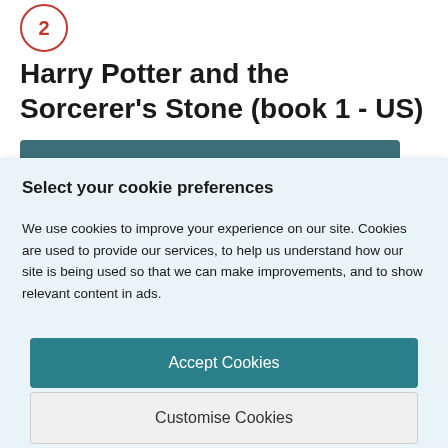Harry Potter and the Sorcerer's Stone (book 1 - US)
Select your cookie preferences
We use cookies to improve your experience on our site. Cookies are used to provide our services, to help us understand how our site is being used so that we can make improvements, and to show relevant content in ads.
Accept Cookies
Customise Cookies